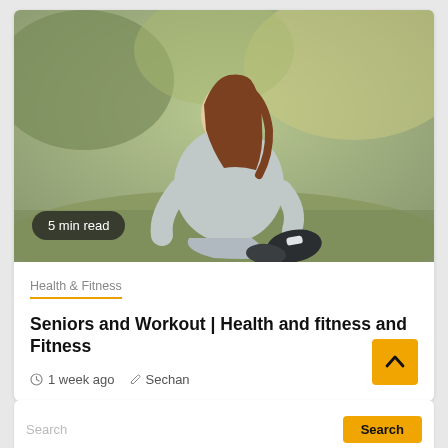[Figure (photo): Woman with brown hair sitting on grass with back to camera, surrounded by trees and greenery in an outdoor natural setting. A '5 min read' badge is overlaid at the bottom left of the image.]
5 min read
Health & Fitness
Seniors and Workout | Health and fitness and Fitness
1 week ago  Sechan
Search